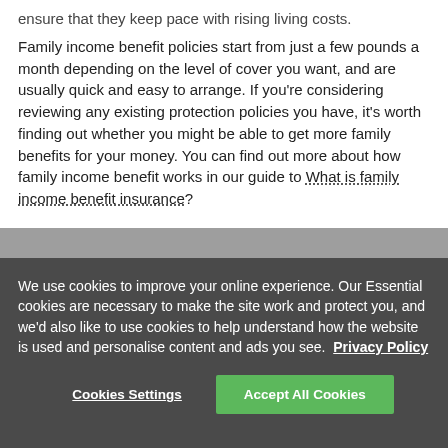ensure that they keep pace with rising living costs.

Family income benefit policies start from just a few pounds a month depending on the level of cover you want, and are usually quick and easy to arrange. If you're considering reviewing any existing protection policies you have, it's worth finding out whether you might be able to get more family benefits for your money. You can find out more about how family income benefit works in our guide to What is family income benefit insurance?
We use cookies to improve your online experience. Our Essential cookies are necessary to make the site work and protect you, and we'd also like to use cookies to help understand how the website is used and personalise content and ads you see. Privacy Policy